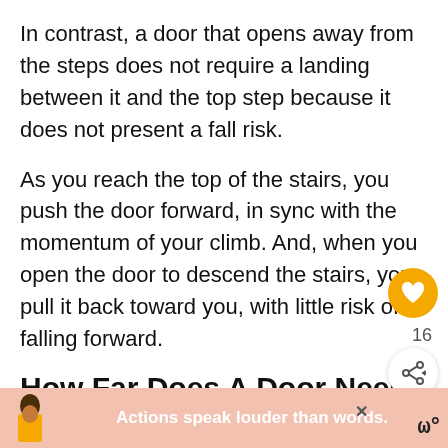In contrast, a door that opens away from the steps does not require a landing between it and the top step because it does not present a fall risk.
As you reach the top of the stairs, you push the door forward, in sync with the momentum of your climb. And, when you open the door to descend the stairs, you pull it back toward you, with little risk of falling forward.
How Far Does A Door Need To Be From The Stairs?
A door that does not swing out over the steps may be...
[Figure (screenshot): UI overlay with heart/like button showing count 16, share button, and a What's Next promotional box showing 'How Close Can Stairs B...' with a thumbnail image]
[Figure (screenshot): Advertisement banner at bottom with person illustration and text 'Actions speak louder than words.' with close button and logo]